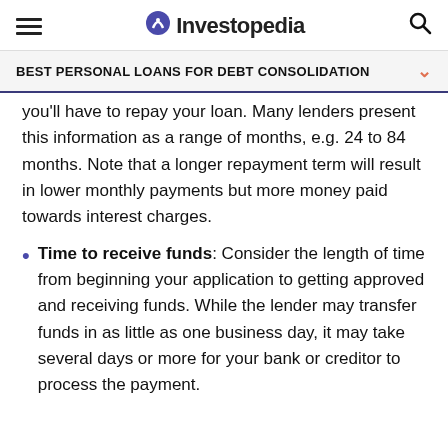Investopedia
BEST PERSONAL LOANS FOR DEBT CONSOLIDATION
you'll have to repay your loan. Many lenders present this information as a range of months, e.g. 24 to 84 months. Note that a longer repayment term will result in lower monthly payments but more money paid towards interest charges.
Time to receive funds: Consider the length of time from beginning your application to getting approved and receiving funds. While the lender may transfer funds in as little as one business day, it may take several days or more for your bank or creditor to process the payment.